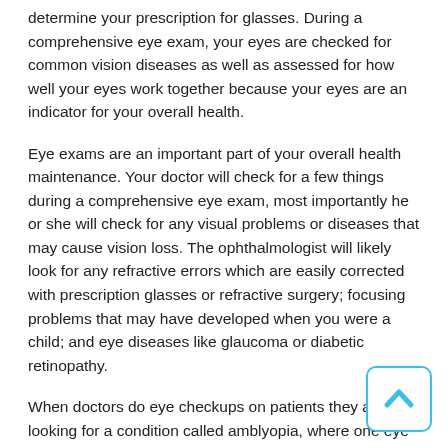determine your prescription for glasses. During a comprehensive eye exam, your eyes are checked for common vision diseases as well as assessed for how well your eyes work together because your eyes are an indicator for your overall health.
Eye exams are an important part of your overall health maintenance. Your doctor will check for a few things during a comprehensive eye exam, most importantly he or she will check for any visual problems or diseases that may cause vision loss. The ophthalmologist will likely look for any refractive errors which are easily corrected with prescription glasses or refractive surgery; focusing problems that may have developed when you were a child; and eye diseases like glaucoma or diabetic retinopathy.
When doctors do eye checkups on patients they are looking for a condition called amblyopia, where one eye has a different vision than the other one. It's through the exams that the eye doctor can correct the problem by a method